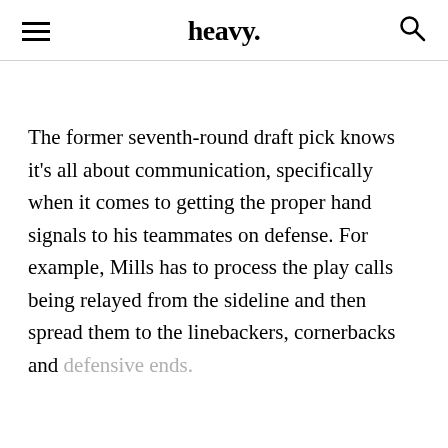heavy.
The former seventh-round draft pick knows it's all about communication, specifically when it comes to getting the proper hand signals to his teammates on defense. For example, Mills has to process the play calls being relayed from the sideline and then spread them to the linebackers, cornerbacks and defensive ends.